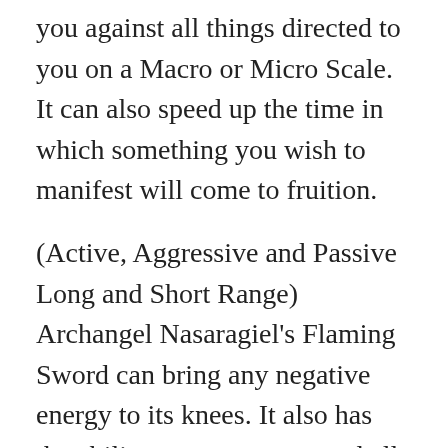you against all things directed to you on a Macro or Micro Scale. It can also speed up the time in which something you wish to manifest will come to fruition.
(Active, Aggressive and Passive Long and Short Range)
Archangel Nasaragiel's Flaming Sword can bring any negative energy to its knees. It also has the ability to remove any and all obstacles that are in the way of something that you wish to manifest.
PLEASE NOTE the next 3 tools are healing